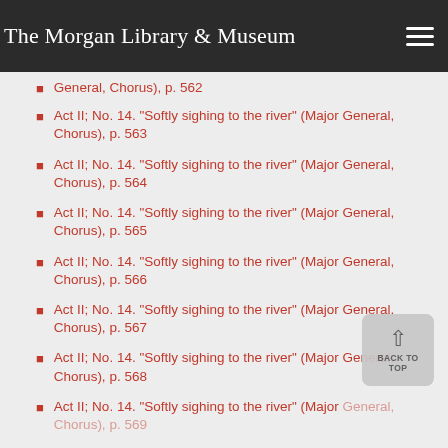The Morgan Library & Museum
Act II; No. 14. "Softly sighing to the river" (Major General, Chorus), p. 562
Act II; No. 14. "Softly sighing to the river" (Major General, Chorus), p. 563
Act II; No. 14. "Softly sighing to the river" (Major General, Chorus), p. 564
Act II; No. 14. "Softly sighing to the river" (Major General, Chorus), p. 565
Act II; No. 14. "Softly sighing to the river" (Major General, Chorus), p. 566
Act II; No. 14. "Softly sighing to the river" (Major General, Chorus), p. 567
Act II; No. 14. "Softly sighing to the river" (Major General, Chorus), p. 568
Act II; No. 14. "Softly sighing to the river" (Major General, Chorus), p. 569
Act II; No. 14. "Softly sighing to the river" (Major General, Chorus), p. 570